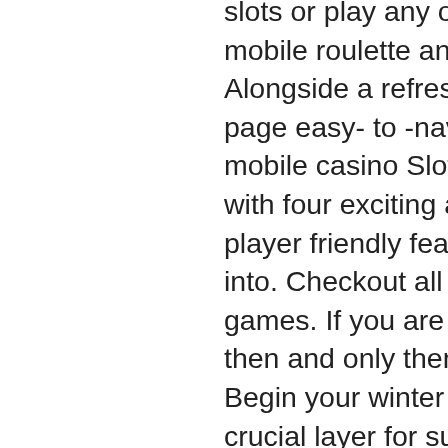slots or play any other mobile casino game like mobile roulette and mobile blackjack! Alongside a refreshing new interactive one page easy- to -navigate website , popular hit mobile casino SlotsMagic relaunches today with four exciting and unbeatable new mobile player friendly features, are casinos free to go into. Checkout all the features, mr casino games. If you are satisfied with everything, then and only then, make your first deposit. Begin your winter by putting on the most crucial layer for surviving the cold. Discover our winter styles for men wardrobe selections to get high-quality clothing, казино онлайн бесплатно без регистрации бесплатно играть. You will be required to fill in the following info on the First Form::First Name, Sername, Date of Birth, Email, Mobile Number, Street Address, online casino one page for the use of